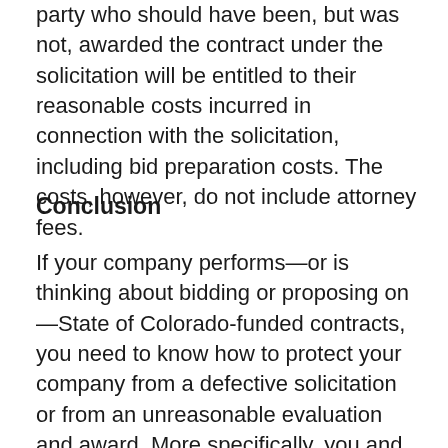party who should have been, but was not, awarded the contract under the solicitation will be entitled to their reasonable costs incurred in connection with the solicitation, including bid preparation costs. The costs, however, do not include attorney fees.
Conclusion
If your company performs—or is thinking about bidding or proposing on—State of Colorado-funded contracts, you need to know how to protect your company from a defective solicitation or from an unreasonable evaluation and award. More specifically, you and your lawyer must be familiar with the “new” Colorado bid protest process. If you have any questions